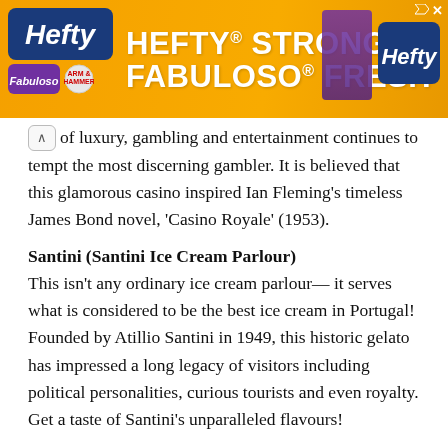[Figure (screenshot): Hefty advertisement banner with orange background. Text reads 'HEFTY STRONG, FABULOSO FRESH'. Hefty logos on left and right sides with Fabuloso and Arm & Hammer logos.]
of luxury, gambling and entertainment continues to tempt the most discerning gambler. It is believed that this glamorous casino inspired Ian Fleming's timeless James Bond novel, 'Casino Royale' (1953).
Santini (Santini Ice Cream Parlour)
This isn't any ordinary ice cream parlour— it serves what is considered to be the best ice cream in Portugal! Founded by Atillio Santini in 1949, this historic gelato has impressed a long legacy of visitors including political personalities, curious tourists and even royalty. Get a taste of Santini's unparalleled flavours!
Praia do Tamariz (Tamariz Beach)